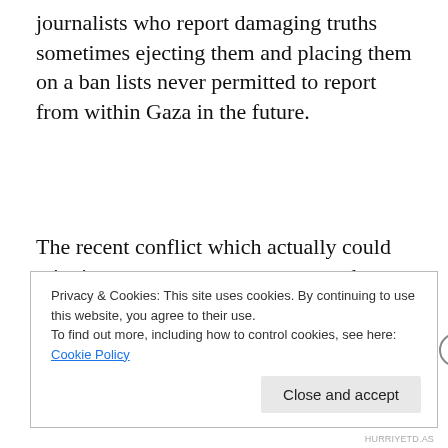journalists who report damaging truths sometimes ejecting them and placing them on a ban lists never permitted to report from within Gaza in the future.
The recent conflict which actually could reignite at any moment as no peace has been signed and the two sides agreed ceasefire has recently been extended for an additional thirty days until the end of October in order that
Privacy & Cookies: This site uses cookies. By continuing to use this website, you agree to their use.
To find out more, including how to control cookies, see here: Cookie Policy
Close and accept
HURRIYETD.AS